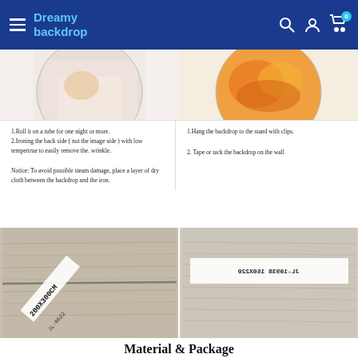Dreamy backdrop
[Figure (photo): Circular cropped photo showing a fabric texture with light pink/peach tones and some yellow/orange areas, suggesting a backdrop material close-up.]
[Figure (photo): Circular cropped photo showing orange and yellow toned backdrop fabric with swirled textures.]
1.Roll it on a tube for one night or more.
2.Ironing the back side ( not the image side ) with low tempertrue to easily remove the. wrinkle.
Notice: To avoid possible steam damage, place a layer of dry cloth between the backdrop and the iron.
1.Hang the backdrop to the stand with clips.
2. Tape or tack the backdrop on the wall
[Figure (photo): Photo of a rolled/folded grey wood-grain backdrop with a label showing '200X300CM' and product code.]
[Figure (photo): Photo of another rolled/folded grey wood-grain backdrop with a white label showing product code JL-10938 and size 150X220.]
Material & Package